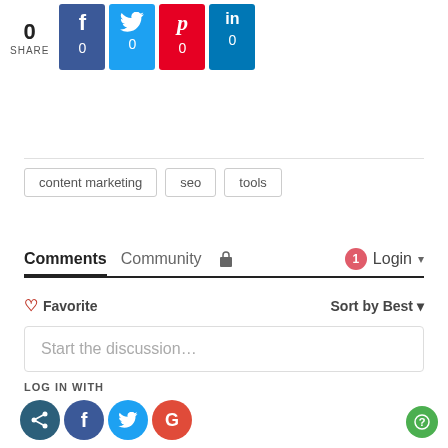[Figure (infographic): Social share bar with count 0 and Facebook, Twitter, Pinterest, LinkedIn buttons each showing 0 shares]
content marketing
seo
tools
Comments  Community  🔒  1  Login ▾
♡ Favorite    Sort by Best ▾
Start the discussion…
LOG IN WITH
[Figure (infographic): Social login icons: share (dark teal), Facebook (blue), Twitter (light blue), Google (red)]